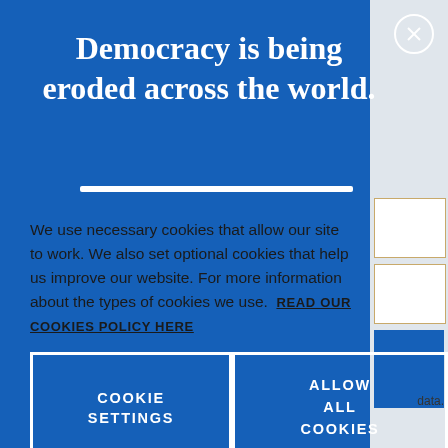Democracy is being eroded across the world.
We use necessary cookies that allow our site to work. We also set optional cookies that help us improve our website. For more information about the types of cookies we use. READ OUR COOKIES POLICY HERE
COOKIE SETTINGS
ALLOW ALL COOKIES